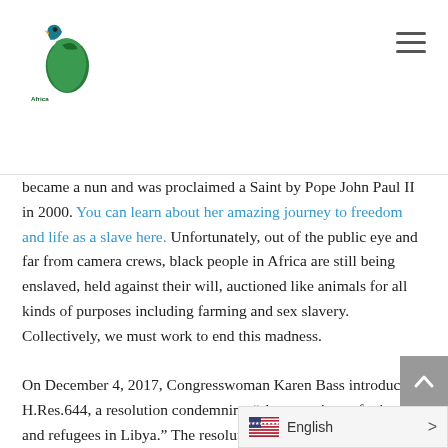Africa Faith & Justice Network
became a nun and was proclaimed a Saint by Pope John Paul II in 2000. You can learn about her amazing journey to freedom and life as a slave here. Unfortunately, out of the public eye and far from camera crews, black people in Africa are still being enslaved, held against their will, auctioned like animals for all kinds of purposes including farming and sex slavery. Collectively, we must work to end this madness. On December 4, 2017, Congresswoman Karen Bass introduced H.Res.644, a resolution condemning “slave auctions of migrants and refugees in Libya.” The resolution basically calls for domestic and international cooperation to deal with the situation. As of February 2, 2018, the resolution has been